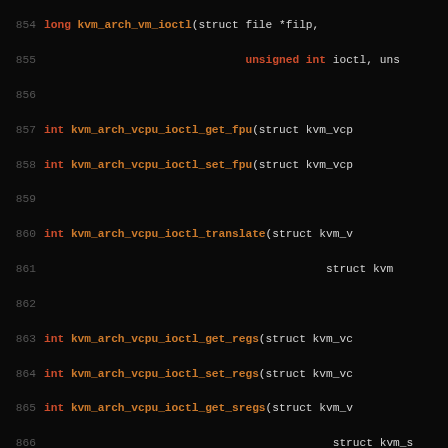[Figure (screenshot): Source code screenshot showing C function declarations for KVM (Kernel Virtual Machine) architecture, lines 854-883, dark background with syntax highlighting]